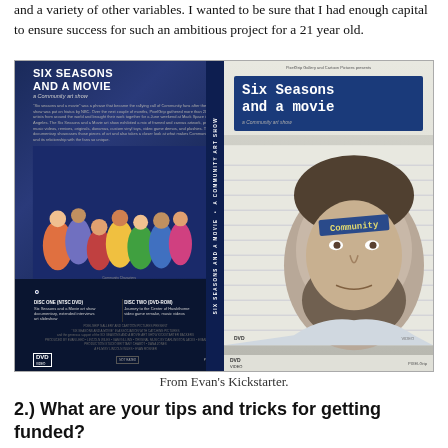and a variety of other variables. I wanted to be sure that I had enough capital to ensure success for such an ambitious project for a 21 year old.
[Figure (photo): DVD cover art for 'Six Seasons and a Movie: A Community Art Show' — left side shows animated characters on a dark blue DVD case with spine text; right side shows a photorealistic illustration of a bearded man (Dan Harmon) with 'Community' written on his forehead, on a notebook-paper background.]
From Evan's Kickstarter.
2.) What are your tips and tricks for getting funded?